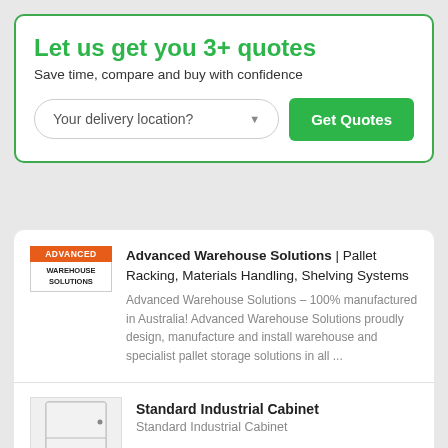Let us get you 3+ quotes
Save time, compare and buy with confidence
Your delivery location?
Get Quotes
Advanced Warehouse Solutions | Pallet Racking, Materials Handling, Shelving Systems
Advanced Warehouse Solutions – 100% manufactured in Australia! Advanced Warehouse Solutions proudly design, manufacture and install warehouse and specialist pallet storage solutions in all ...
Standard Industrial Cabinet
Standard Industrial Cabinet